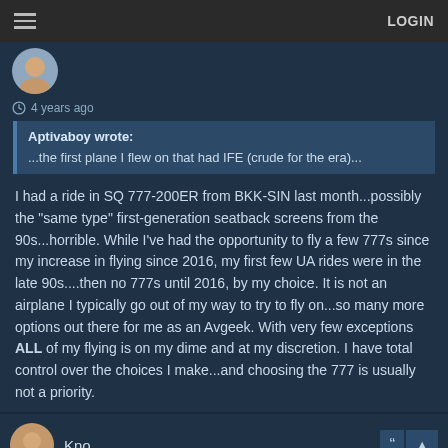LOGIN
4 years ago
Aptivaboy wrote: ...the first plane I flew on that had IFE (crude for the era)...
I had a ride in SQ 777-200ER from BKK-SIN last month...possibly the "same type" first-generation seatback screens from the 90s...horrible. While I've had the opportunity to fly a few 777s since my increase in flying since 2016, my first few UA rides were in the late 90s....then no 777s until 2016, by my choice. It is not an airplane I typically go out of my way to try to fly on...so many more options out there for me as an Avgeek. With very few exceptions ALL of my flying is on my dime and at my discretion. I have total control over the choices I make...and choosing the 777 is usually not a priority.
Kno
4 years ago
I absolutely loved the 777 growing up, but now it seems a little more...